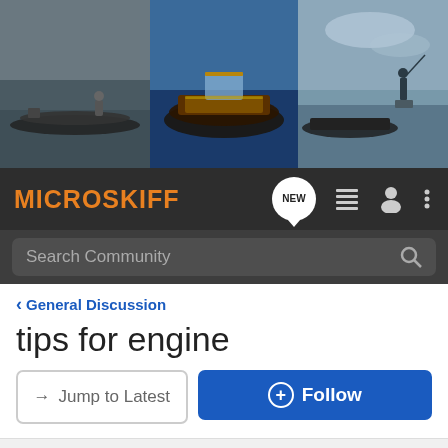[Figure (photo): Microskiff website header banner showing three panels of boat/fishing photos]
MICROSKIFF
Search Community
< General Discussion
tips for engine
→ Jump to Latest
+ Follow
1 - 4 of 4 Posts
Joeyyeslow · I Love microskiff.com! 🇺🇸
Joined Jun 29, 2011 · 5 Posts